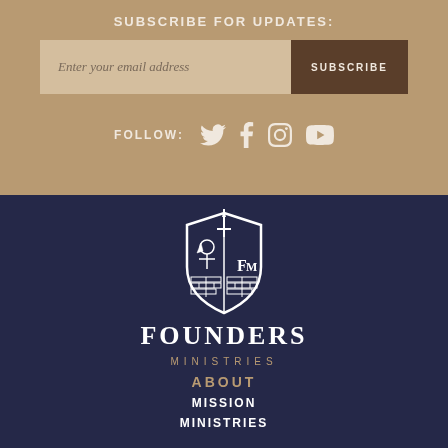SUBSCRIBE FOR UPDATES:
Enter your email address
SUBSCRIBE
FOLLOW:
[Figure (logo): Founders Ministries shield logo with sword, trowel, and brick wall, FM letters]
FOUNDERS
MINISTRIES
ABOUT
MISSION
MINISTRIES